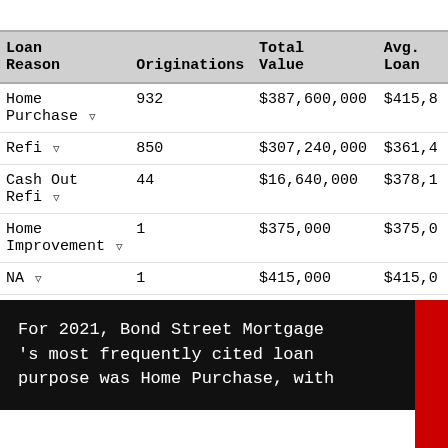| Loan Reason | Originations | Total Value | Avg. Loan |
| --- | --- | --- | --- |
| Home Purchase | 932 | $387,600,000 | $415,8… |
| Refi | 850 | $307,240,000 | $361,4… |
| Cash Out Refi | 44 | $16,640,000 | $378,1… |
| Home Improvement | 1 | $375,000 | $375,0… |
| NA | 1 | $415,000 | $415,0… |
For 2021, Bond Street Mortgage 's most frequently cited loan purpose was Home Purchase, with